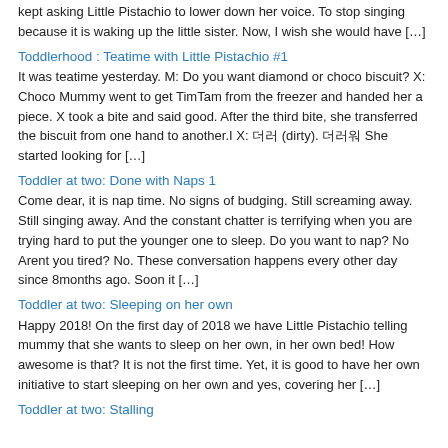kept asking Little Pistachio to lower down her voice. To stop singing because it is waking up the little sister. Now, I wish she would have […]
Toddlerhood :  Teatime with Little Pistachio #1
It was teatime yesterday.  M: Do you want diamond or choco biscuit? X: Choco Mummy went to get TimTam from the freezer and handed her a piece. X took a bite and said good.  After the third bite, she transferred the biscuit from one hand to another.I X: 더러 (dirty). 더러워 She started looking for […]
Toddler at two: Done with Naps 1
Come dear, it is nap time.  No signs of budging. Still screaming away. Still singing away. And the constant chatter is terrifying when you are trying hard to put the younger one to sleep. Do you want to nap? No Arent you tired? No. These conversation happens every other day since 8months ago. Soon it […]
Toddler at two: Sleeping on her own
Happy 2018! On the first day of 2018 we have Little Pistachio telling mummy that she wants to sleep on her own, in her own bed! How awesome is that? It is not the first time. Yet, it is good to have her own initiative to start sleeping on her own and yes, covering her […]
Toddler at two: Stalling